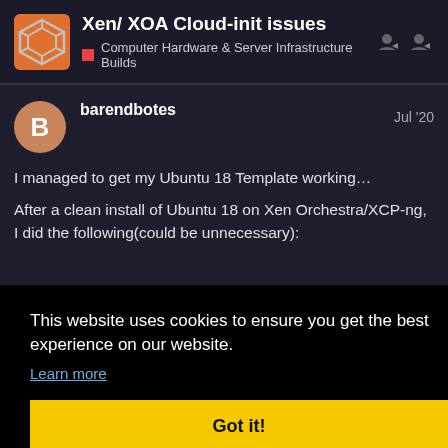Xen/ XOA Cloud-init issues — Computer Hardware & Server Infrastructure Builds
barendbotes   Jul '20
I managed to get my Ubuntu 18 Template working…
After a clean install of Ubuntu 18 on Xen Orchestra/XCP-ng, I did the following(could be unnecessary):
This website uses cookies to ensure you get the best experience on our website.
Learn more
Got it!